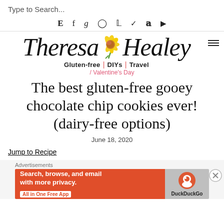Type to Search...
[Figure (screenshot): Social media icons row: E (Etsy), f (Facebook), g (Goodreads), Instagram, Pinterest, TikTok, Twitter, YouTube]
[Figure (logo): Theresa Healey blog logo with sunflower illustration, tagline: Gluten-free | DIYs | Travel]
/ Valentine's Day
The best gluten-free gooey chocolate chip cookies ever! (dairy-free options)
June 18, 2020
Jump to Recipe
[Figure (screenshot): Advertisement banner: DuckDuckGo ad - 'Search, browse, and email with more privacy. All in One Free App']